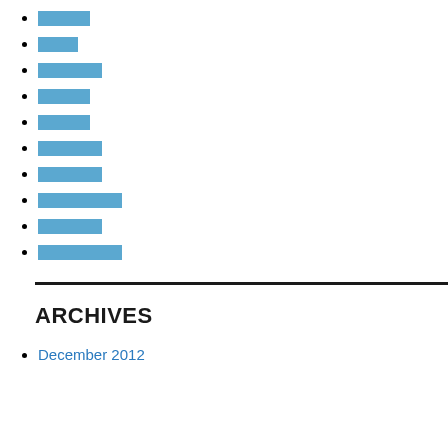[redacted link 1]
[redacted link 2]
[redacted link 3]
[redacted link 4]
[redacted link 5]
[redacted link 6]
[redacted link 7]
[redacted link 8]
[redacted link 9]
[redacted link 10]
ARCHIVES
December 2012